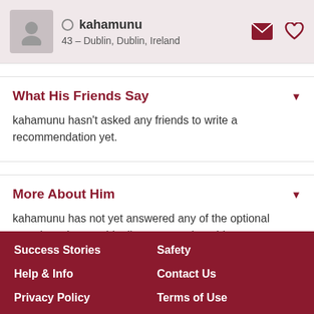kahamunu — 43 – Dublin, Dublin, Ireland
What His Friends Say
kahamunu hasn't asked any friends to write a recommendation yet.
More About Him
kahamunu has not yet answered any of the optional questions that would tell you more about him.
Success Stories | Safety | Help & Info | Contact Us | Privacy Policy | Terms of Use